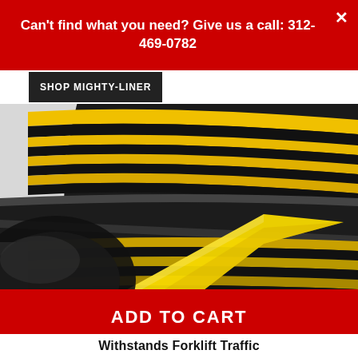Can't find what you need? Give us a call: 312-469-0782
SHOP MIGHTY-LINER
[Figure (photo): Close-up photo of a roll of yellow and black floor marking tape being peeled, showing alternating yellow and black stripes on the roll with a yellow liner being separated from the roll.]
ADD TO CART
Withstands Forklift Traffic